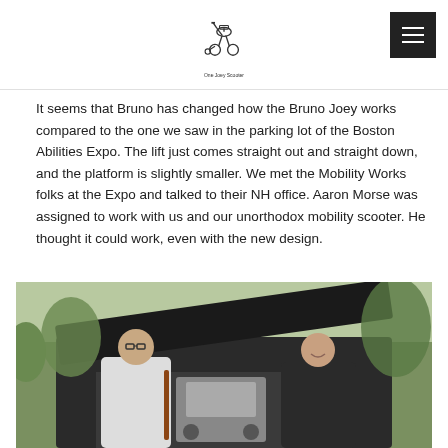One Joey Scooter [logo and menu]
It seems that Bruno has changed how the Bruno Joey works compared to the one we saw in the parking lot of the Boston Abilities Expo. The lift just comes straight out and straight down, and the platform is slightly smaller. We met the Mobility Works folks at the Expo and talked to their NH office. Aaron Morse was assigned to work with us and our unorthodox mobility scooter. He thought it could work, even with the new design.
[Figure (photo): Two men standing behind the open trunk of a dark SUV. One man on the left is wearing a light-colored shirt and holding a wooden cane. The other man on the right is wearing a dark jacket. Inside the trunk a mobility scooter or wheelchair device is visible. Trees are in the background.]